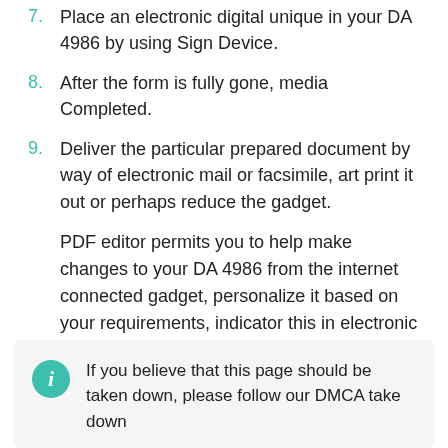7. Place an electronic digital unique in your DA 4986 by using Sign Device.
8. After the form is fully gone, media Completed.
9. Deliver the particular prepared document by way of electronic mail or facsimile, art print it out or perhaps reduce the gadget.
PDF editor permits you to help make changes to your DA 4986 from the internet connected gadget, personalize it based on your requirements, indicator this in electronic format and also disperse differently.
If you believe that this page should be taken down, please follow our DMCA take down